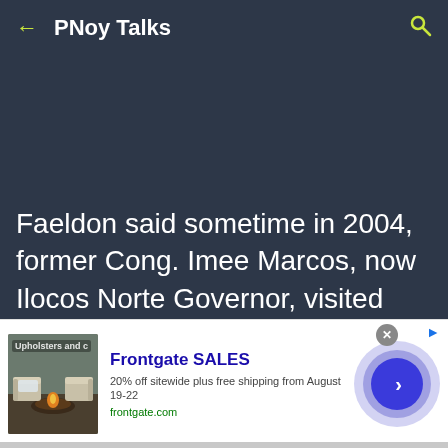PNoy Talks
Faeldon said sometime in 2004, former Cong. Imee Marcos, now Ilocos Norte Governor, visited
[Figure (screenshot): Advertisement banner for Frontgate SALES showing outdoor patio furniture with fire pit, text '20% off sitewide plus free shipping from August 19-22', URL frontgate.com, with navigation arrow button]
Frontgate SALES
20% off sitewide plus free shipping from August 19-22
frontgate.com